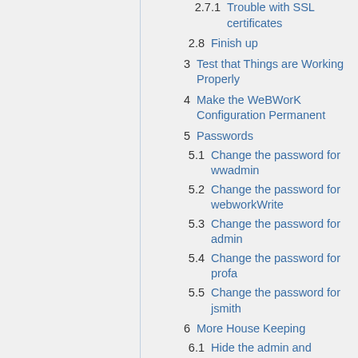2.7.1  Trouble with SSL certificates
2.8  Finish up
3  Test that Things are Working Properly
4  Make the WeBWorK Configuration Permanent
5  Passwords
5.1  Change the password for wwadmin
5.2  Change the password for webworkWrite
5.3  Change the password for admin
5.4  Change the password for profa
5.5  Change the password for jsmith
6  More House Keeping
6.1  Hide the admin and myTestCourse courses
6.2  Adjust Apache's configuration according to your server's memory